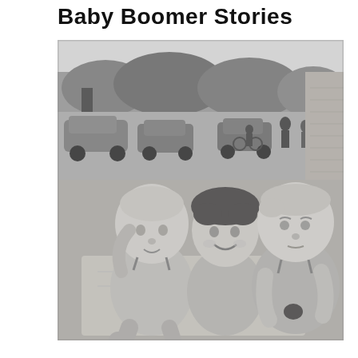Baby Boomer Stories
[Figure (photo): Black and white photograph of three young children sitting together outdoors. The child on the left is a toddler with light hair. In the middle is a slightly older child smiling at the camera. On the right is another young child. In the background there are trees, parked cars, and people visible on a street.]